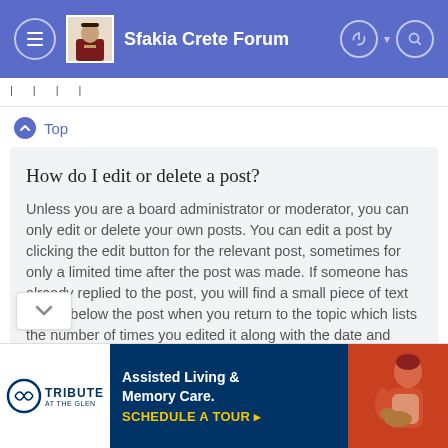Sfakia Crete Forum
Top
How do I edit or delete a post?
Unless you are a board administrator or moderator, you can only edit or delete your own posts. You can edit a post by clicking the edit button for the relevant post, sometimes for only a limited time after the post was made. If someone has already replied to the post, you will find a small piece of text output below the post when you return to the topic which lists the number of times you edited it along with the date and This will only appear if someone has made a
[Figure (screenshot): Advertisement banner for Tribute at the Glen - Assisted Living & Memory Care with 'SCHEDULE A TOUR' call to action]